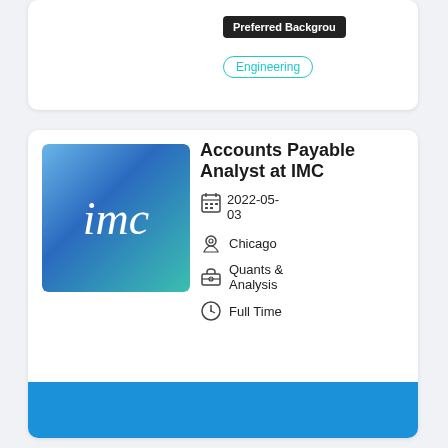Preferred Background
Engineering
[Figure (logo): IMC company logo — blue to teal gradient square with white lowercase 'imc' text]
Accounts Payable Analyst at IMC
2022-05-03
Chicago
Quants & Analysis
Full Time